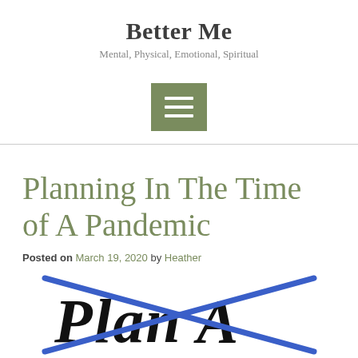Better Me
Mental, Physical, Emotional, Spiritual
[Figure (infographic): Hamburger menu icon: olive/sage green square button with three white horizontal lines]
Planning In The Time of A Pandemic
Posted on March 19, 2020 by Heather
[Figure (photo): Handwritten text 'Plan A' in black ink with a blue X crossed through it, indicating Plan A is cancelled]